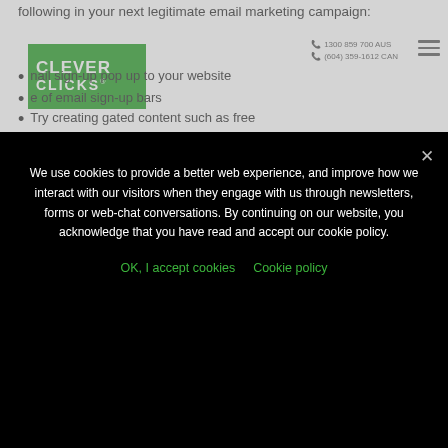following in your next legitimate email marketing campaign:
[Figure (logo): Clever Clicks logo - green rectangle with white bold text CLEVER on top line and CLICKS with registered trademark symbol on second line]
1300 859 700 AUS
(604) 359-1612 CAN
nail sign-up pop up to your website
e of email sign-up bars
Try creating gated content such as free
We use cookies to provide a better web experience, and improve how we interact with our visitors when they engage with us through newsletters, forms or web-chat conversations. By continuing on our website, you acknowledge that you have read and accept our cookie policy.
OK, I accept cookies   Cookie policy